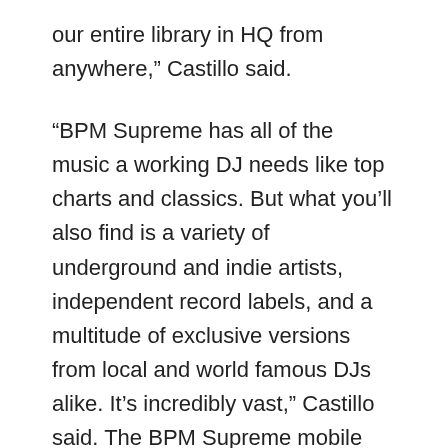our entire library in HQ from anywhere,” Castillo said.
“BPM Supreme has all of the music a working DJ needs like top charts and classics. But what you’ll also find is a variety of underground and indie artists, independent record labels, and a multitude of exclusive versions from local and world famous DJs alike. It’s incredibly vast,” Castillo said. The BPM Supreme mobile app is a giant leap forward in the ever-changing music industry landscape. In 2019 and beyond, Castillo says that BPM Supreme will continue to evolve and never away from what’s on the horizon.
“Look at a company like Amazon, how they started out, and what their business model looks like…